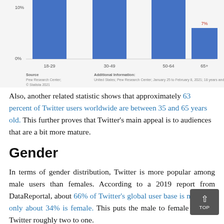[Figure (bar-chart): Twitter users by age group]
Also, another related statistic shows that approximately 63 percent of Twitter users worldwide are between 35 and 65 years old. This further proves that Twitter's main appeal is to audiences that are a bit more mature.
Gender
In terms of gender distribution, Twitter is more popular among male users than females. According to a 2019 report from DataReportal, about 66% of Twitter's global user base is male and only about 34% is female. This puts the male to female ratio of Twitter roughly two to one.